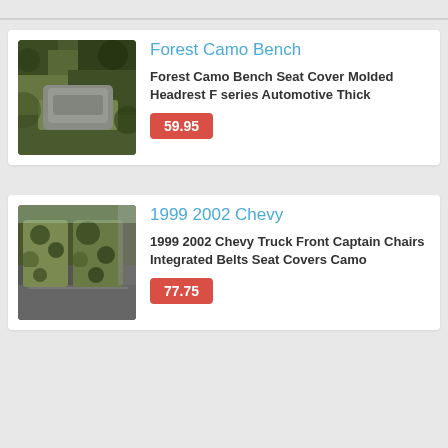[Figure (photo): Forest camo bench seat cover product photo showing camouflage fabric with a grey bench seat]
Forest Camo Bench
Forest Camo Bench Seat Cover Molded Headrest F series Automotive Thick
59.95
[Figure (photo): 1999 2002 Chevy truck interior with camo seat covers on captain chairs]
1999 2002 Chevy
1999 2002 Chevy Truck Front Captain Chairs Integrated Belts Seat Covers Camo
77.75